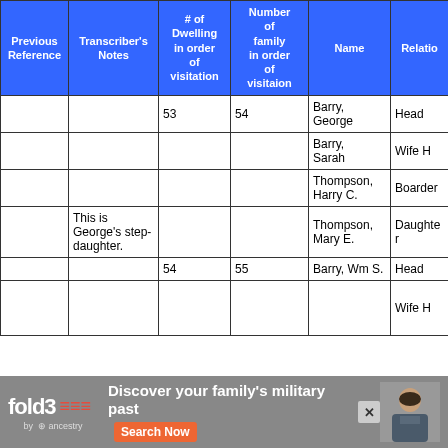| Previous Reference | Transcriber's Notes | # of Dwelling in order of visitation | Number of family in order of visitation | Name | Relatio |
| --- | --- | --- | --- | --- | --- |
|  |  | 53 | 54 | Barry, George | Head |
|  |  |  |  | Barry, Sarah | Wife H |
|  |  |  |  | Thompson, Harry C. | Boarder |
|  | This is George's step-daughter. |  |  | Thompson, Mary E. | Daughter |
|  |  | 54 | 55 | Barry, Wm S. | Head |
|  |  |  |  |  | Wife H |
[Figure (screenshot): Fold3 by Ancestry advertisement banner at bottom: 'Discover your family's military past' with Search Now button and a Civil War soldier photo]